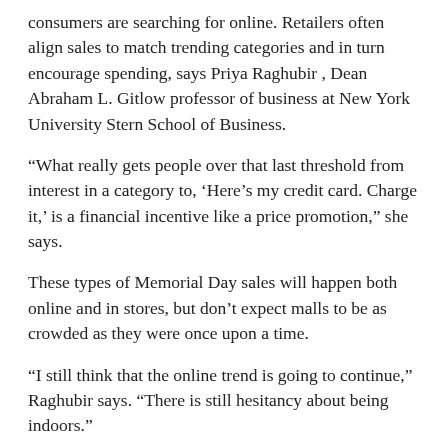consumers are searching for online. Retailers often align sales to match trending categories and in turn encourage spending, says Priya Raghubir , Dean Abraham L. Gitlow professor of business at New York University Stern School of Business.
“What really gets people over that last threshold from interest in a category to, ‘Here’s my credit card. Charge it,’ is a financial incentive like a price promotion,” she says.
These types of Memorial Day sales will happen both online and in stores, but don’t expect malls to be as crowded as they were once upon a time.
“I still think that the online trend is going to continue,” Raghubir says. “There is still hesitancy about being indoors.”
BRAINSTORM BEFORE THE BARGAINS
Whether you head to a physical store or a virtual one, there